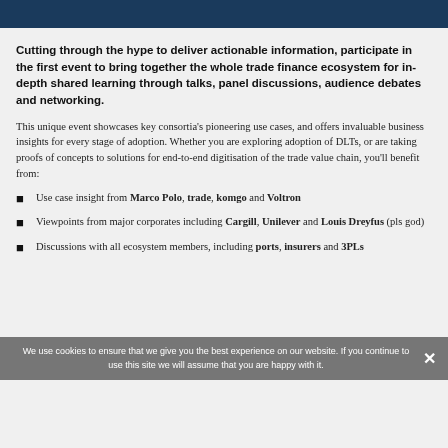Cutting through the hype to deliver actionable information, participate in the first event to bring together the whole trade finance ecosystem for in-depth shared learning through talks, panel discussions, audience debates and networking.
This unique event showcases key consortia's pioneering use cases, and offers invaluable business insights for every stage of adoption. Whether you are exploring adoption of DLTs, or are taking proofs of concepts to solutions for end-to-end digitisation of the trade value chain, you'll benefit from:
Use case insight from Marco Polo, trade, komgo and Voltron
Viewpoints from major corporates including Cargill, Unilever and Louis Dreyfus (pls god)
Discussions with all ecosystem members, including ports, insurers and 3PLs